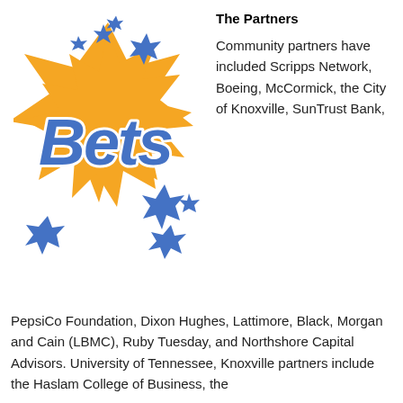[Figure (logo): BETS program logo: colorful graffiti-style text 'Bets' in blue with white outline on an orange star burst shape, with blue stars around it]
The Partners
Community partners have included Scripps Network, Boeing, McCormick, the City of Knoxville, SunTrust Bank, PepsiCo Foundation, Dixon Hughes, Lattimore, Black, Morgan and Cain (LBMC), Ruby Tuesday, and Northshore Capital Advisors. University of Tennessee, Knoxville partners include the Haslam College of Business, the